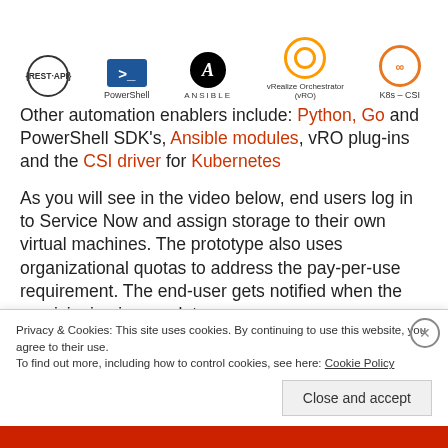[Figure (illustration): Row of tool/technology icons: REST API, PowerShell, Ansible, vRealize Orchestrator (vRO), K8s - CSI]
Other automation enablers include: Python, Go and PowerShell SDK's, Ansible modules, vRO plug-ins and the CSI driver for Kubernetes
As you will see in the video below, end users log in to Service Now and assign storage to their own virtual machines. The prototype also uses organizational quotas to address the pay-per-use requirement. The end-user gets notified when the provisioning is complete.
Privacy & Cookies: This site uses cookies. By continuing to use this website, you agree to their use.
To find out more, including how to control cookies, see here: Cookie Policy
Close and accept